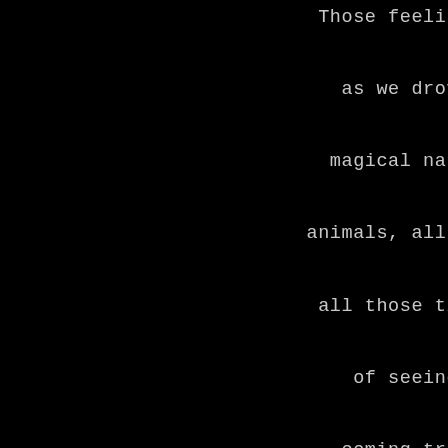Those feelings starting to disappear as we drove deeper into the most magical nature reserve full of the animals, all the animals I had watched all those times on TV & only dreamed of seeing wild. My dreams were coming true!  I was living them. After those first trips to C.A.R.E. (yep, I kept returning), I went on to get paid work with Great Apes which was my dream & also complete my Masters Degree in Primate Conservation.  Without a doubt my